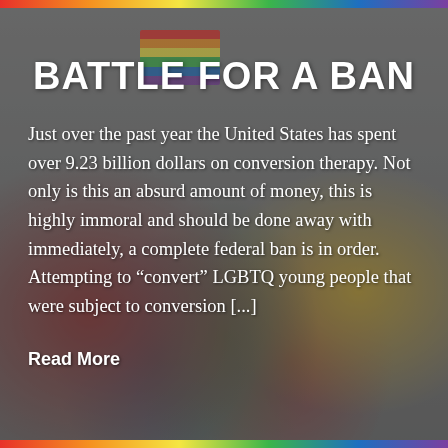[Figure (photo): Background photo of LGBTQ activists holding rainbow flags and signs, overlaid with a dark semi-transparent overlay. Decorative rainbow stripe bars at top and bottom of the image.]
BATTLE FOR A BAN
Just over the past year the United States has spent over 9.23 billion dollars on conversion therapy. Not only is this an absurd amount of money, this is highly immoral and should be done away with immediately, a complete federal ban is in order. Attempting to “convert” LGBTQ young people that were subject to conversion [...]
Read More